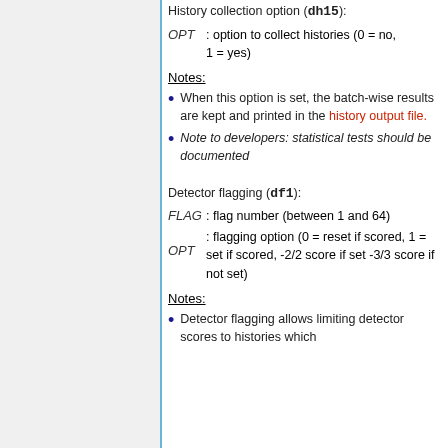History collection option (dh15):
OPT : option to collect histories (0 = no, 1 = yes)
Notes:
When this option is set, the batch-wise results are kept and printed in the history output file.
Note to developers: statistical tests should be documented
Detector flagging (df1):
FLAG : flag number (between 1 and 64)
OPT : flagging option (0 = reset if scored, 1 = set if scored, -2/2 score if set -3/3 score if not set)
Notes:
Detector flagging allows limiting detector scores to histories which